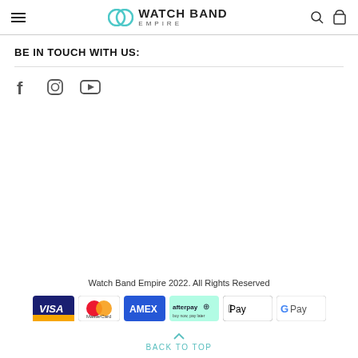Watch Band Empire
BE IN TOUCH WITH US:
[Figure (illustration): Social media icons: Facebook, Instagram, YouTube]
Watch Band Empire 2022. All Rights Reserved
[Figure (illustration): Payment method icons: Visa, MasterCard, AMEX, Afterpay, Apple Pay, Google Pay]
BACK TO TOP